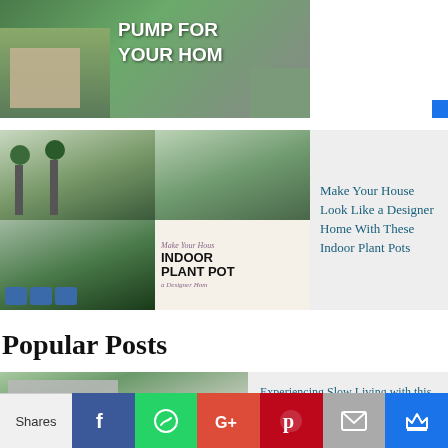[Figure (photo): Banner image showing outdoor home area with text 'PUMP FOR YOUR HOM' in white bold letters]
[Figure (photo): Collage of four images showing indoor plants in designer pots on stands, large leafy plant by window, herbs in blue pots, and a graphic card reading INDOOR PLANT POT]
Make Your House Look Like a Designer Home With These Indoor Plant Pots
Popular Posts
[Figure (photo): Modern minimalist house with concrete walls and surrounding greenery, representing a leisure home in Tamil Nadu]
Experiencing Slow Living with this Leisure Home in Tamil Nadu | Architecture Interspace